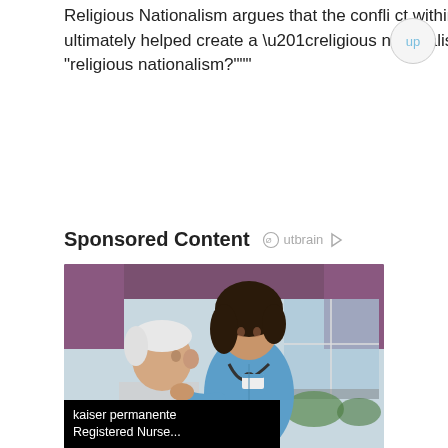Religious Nationalism argues that the conflict within American Protestantism ultimately helped create a “religious nationalism.” What is "religious nationalism?"""
Sponsored Content
[Figure (photo): Photo of a smiling nurse in blue scrubs with a stethoscope talking to an elderly patient. Overlay text reads 'kaiser permanente Registered Nurse...' with source 'jobble.com']